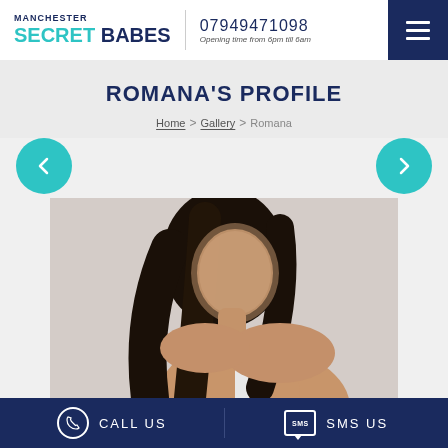MANCHESTER SECRET BABES | 07949471098 | Opening time from 6pm till 6am
ROMANA'S PROFILE
Home > Gallery > Romana
[Figure (photo): Profile photo of Romana, a woman with long dark hair, face blurred, wearing a white top, photographed against a light grey background.]
CALL US | SMS US